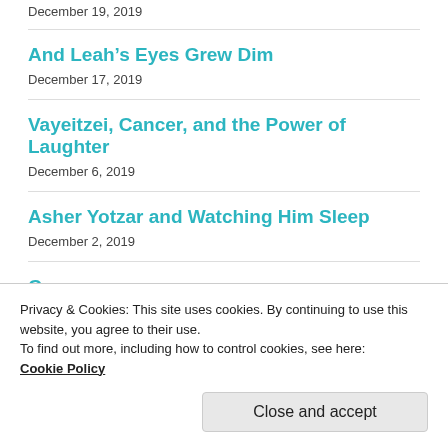December 19, 2019
And Leah’s Eyes Grew Dim
December 17, 2019
Vayeitzei, Cancer, and the Power of Laughter
December 6, 2019
Asher Yotzar and Watching Him Sleep
December 2, 2019
Cancer
November 30, 2019
Privacy & Cookies: This site uses cookies. By continuing to use this website, you agree to their use.
To find out more, including how to control cookies, see here:
Cookie Policy
Close and accept